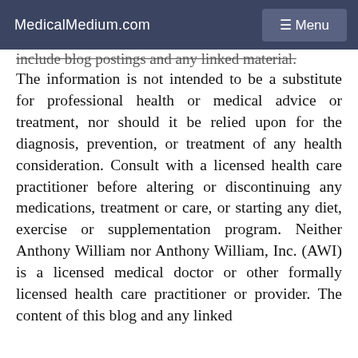MedicalMedium.com   ☰ Menu
include blog postings and any linked material. The information is not intended to be a substitute for professional health or medical advice or treatment, nor should it be relied upon for the diagnosis, prevention, or treatment of any health consideration. Consult with a licensed health care practitioner before altering or discontinuing any medications, treatment or care, or starting any diet, exercise or supplementation program. Neither Anthony William nor Anthony William, Inc. (AWI) is a licensed medical doctor or other formally licensed health care practitioner or provider. The content of this blog and any linked